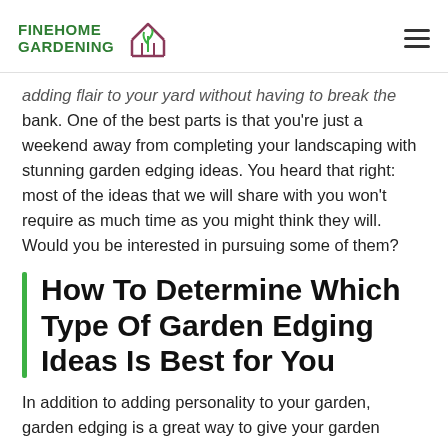FINEHOME GARDENING
adding flair to your yard without having to break the bank. One of the best parts is that you're just a weekend away from completing your landscaping with stunning garden edging ideas. You heard that right: most of the ideas that we will share with you won't require as much time as you might think they will. Would you be interested in pursuing some of them?
How To Determine Which Type Of Garden Edging Ideas Is Best for You
In addition to adding personality to your garden, garden edging is a great way to give your garden